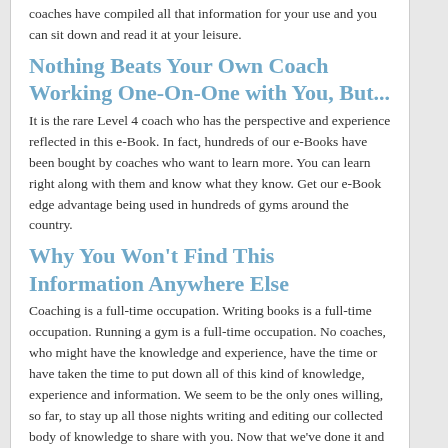coaches have compiled all that information for your use and you can sit down and read it at your leisure.
Nothing Beats Your Own Coach Working One-On-One with You, But...
It is the rare Level 4 coach who has the perspective and experience reflected in this e-Book. In fact, hundreds of our e-Books have been bought by coaches who want to learn more. You can learn right along with them and know what they know. Get our e-Book edge advantage being used in hundreds of gyms around the country.
Why You Won't Find This Information Anywhere Else
Coaching is a full-time occupation. Writing books is a full-time occupation. Running a gym is a full-time occupation. No coaches, who might have the knowledge and experience, have the time or have taken the time to put down all of this kind of knowledge, experience and information. We seem to be the only ones willing, so far, to stay up all those nights writing and editing our collected body of knowledge to share with you. Now that we've done it and done it so comprehensively, why is anyone else even going to the time, trouble and bother to do all that work and still end up putting out an inferior product.
Learn Faster and Have More Confidence